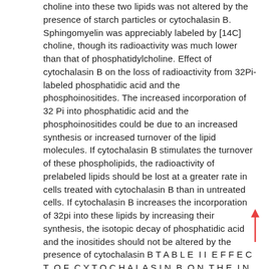choline into these two lipids was not altered by the presence of starch particles or cytochalasin B. Sphingomyelin was appreciably labeled by [14C] choline, though its radioactivity was much lower than that of phosphatidylcholine. Effect of cytochalasin B on the loss of radioactivity from 32Pi-labeled phosphatidic acid and the phosphoinositides. The increased incorporation of 32 Pi into phosphatidic acid and the phosphoinositides could be due to an increased synthesis or increased turnover of the lipid molecules. If cytochalasin B stimulates the turnover of these phospholipids, the radioactivity of prelabeled lipids should be lost at a greater rate in cells treated with cytochalasin B than in untreated cells. If cytochalasin B increases the incorporation of 32pi into these lipids by increasing their synthesis, the isotopic decay of phosphatidic acid and the inositides should not be altered by the presence of cytochalasin B TABLE II EFFECT OF CYTOCHALASIN B ON THE INCORPORATION OF [METHYL-14C] CHOLINE CHLORIDE INTO PHOSPHATIDYLCHOLINE AND SPHINGOMYELIN Polymorphonuclear cells (40 X 106 in 1.6 ml) and 0.1 ml of serum were preincubated for 10 min with cytochalasin B (4 n g in 10 pl)